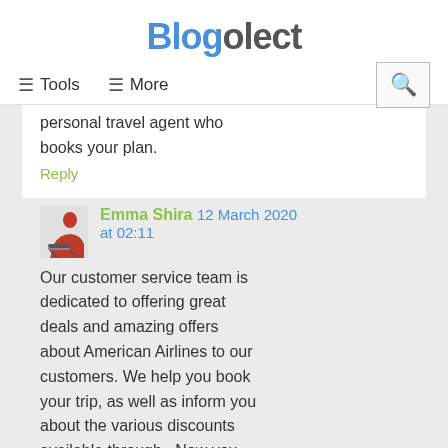Blogolect
≡ Tools   ≡ More
personal travel agent who books your plan.
Reply
Emma Shira  12 March 2020 at 02:11
Our customer service team is dedicated to offering great deals and amazing offers about American Airlines to our customers. We help you book your trip, as well as inform you about the various discounts available through . Now you